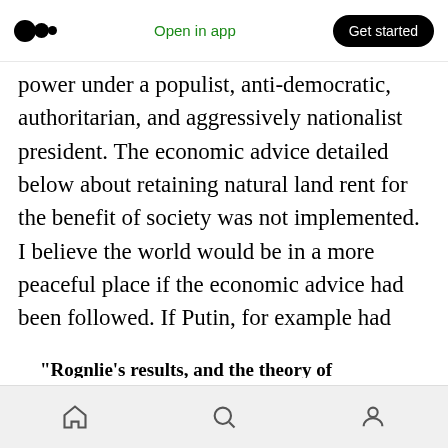Medium logo | Open in app | Get started
power under a populist, anti-democratic, authoritarian, and aggressively nationalist president. The economic advice detailed below about retaining natural land rent for the benefit of society was not implemented. I believe the world would be in a more peaceful place if the economic advice had been followed. If Putin, for example had followed Lee Kuan Yew Singapore's first Prime Minister lead, then Russia and the world would be in a better position now.
"Rognlie's results, and the theory of agglomeration
Home | Search | Profile